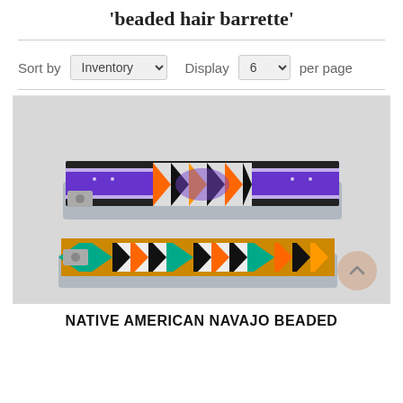'beaded hair barrette'
Sort by  Inventory  Display  6  per page
[Figure (photo): Two Native American Navajo beaded hair barrettes on a light grey background. The top barrette has a purple, black, white, and orange zigzag/geometric bead pattern. The bottom barrette has a gold/yellow, teal, black, white, and orange zigzag/geometric bead pattern.]
NATIVE AMERICAN NAVAJO BEADED